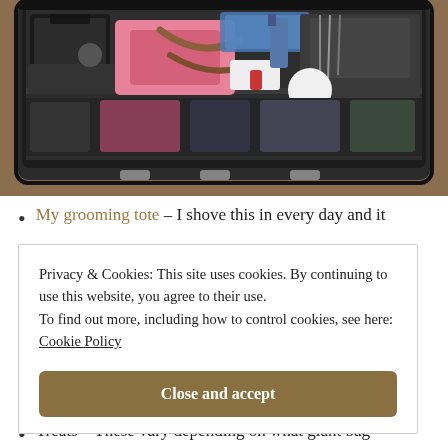[Figure (photo): Overhead view of an open hard-sided travel case or trunk filled with various items including a black grooming tote, pink bag, leather straps, orange gloves, brushes, spray bottles, and other grooming supplies on a wooden floor.]
My grooming tote – I shove this in every day and it
Privacy & Cookies: This site uses cookies. By continuing to use this website, you agree to their use.
To find out more, including how to control cookies, see here:
Cookie Policy

Close and accept
Treats – These vary depending on what giant bag